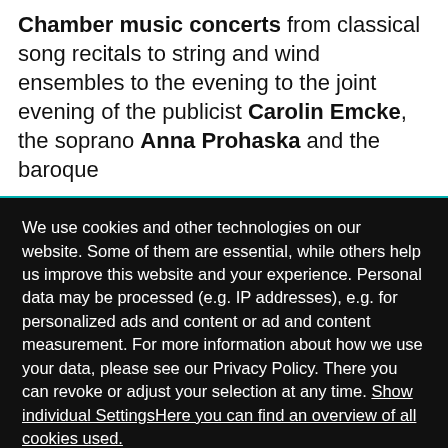Chamber music concerts from classical song recitals to string and wind ensembles to the evening to the joint evening of the publicist Carolin Emcke, the soprano Anna Prohaska and the baroque
We use cookies and other technologies on our website. Some of them are essential, while others help us improve this website and your experience. Personal data may be processed (e.g. IP addresses), e.g. for personalized ads and content or ad and content measurement. For more information about how we use your data, please see our Privacy Policy. There you can revoke or adjust your selection at any time. Show individual SettingsHere you can find an overview of all cookies used.
Deny all
Accept all
Show individual settings